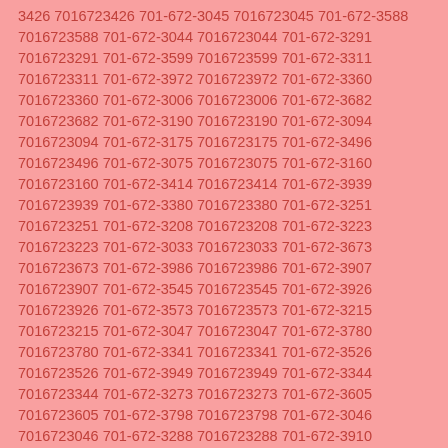3426 7016723426 701-672-3045 7016723045 701-672-3588 7016723588 701-672-3044 7016723044 701-672-3291 7016723291 701-672-3599 7016723599 701-672-3311 7016723311 701-672-3972 7016723972 701-672-3360 7016723360 701-672-3006 7016723006 701-672-3682 7016723682 701-672-3190 7016723190 701-672-3094 7016723094 701-672-3175 7016723175 701-672-3496 7016723496 701-672-3075 7016723075 701-672-3160 7016723160 701-672-3414 7016723414 701-672-3939 7016723939 701-672-3380 7016723380 701-672-3251 7016723251 701-672-3208 7016723208 701-672-3223 7016723223 701-672-3033 7016723033 701-672-3673 7016723673 701-672-3986 7016723986 701-672-3907 7016723907 701-672-3545 7016723545 701-672-3926 7016723926 701-672-3573 7016723573 701-672-3215 7016723215 701-672-3047 7016723047 701-672-3780 7016723780 701-672-3341 7016723341 701-672-3526 7016723526 701-672-3949 7016723949 701-672-3344 7016723344 701-672-3273 7016723273 701-672-3605 7016723605 701-672-3798 7016723798 701-672-3046 7016723046 701-672-3288 7016723288 701-672-3910 7016723910 701-672-3777 7016723777 701-672-3077 7016723077 701-672-3342 7016723342 701-672-3142 7016723142 701-672-3259 7016723259 701-672-3024 7016723024 701-672-3122 7016723122 701-672-3325 7016723325 701-672-3970 7016723970 701-672-3041 7016723041 701-672-3504 7016723504 701-672-3741 7016723741 701-672-3693 7016723693 701-672-3778 7016723778 701-672-3655 7016723655 701-672-3570 7016723570 701-672-3897 7016723897 701-672-3535 7016723535 701-672-3940 7016723940 701-672-3394 7016723394 701-672-